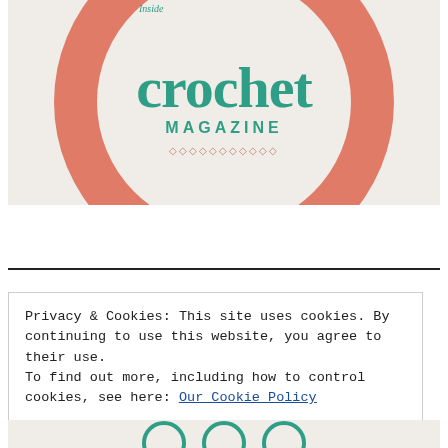[Figure (logo): Inside Crochet Magazine logo: teal script 'crochet' with 'inside' in italic above, 'MAGAZINE' in teal caps below, surrounded by a salmon/coral circle with dotted pattern on a light beige background. Diamond chain decorative element below MAGAZINE text.]
Privacy & Cookies: This site uses cookies. By continuing to use this website, you agree to their use.
To find out more, including how to control cookies, see here: Our Cookie Policy
Close and accept